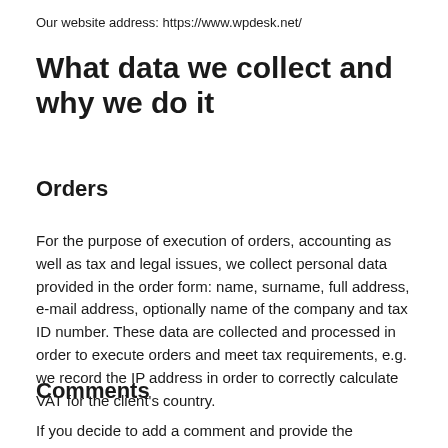Our website address: https://www.wpdesk.net/
What data we collect and why we do it
Orders
For the purpose of execution of orders, accounting as well as tax and legal issues, we collect personal data provided in the order form: name, surname, full address, e-mail address, optionally name of the company and tax ID number. These data are collected and processed in order to execute orders and meet tax requirements, e.g. we record the IP address in order to correctly calculate VAT for the client's country.
Comments
If you decide to add a comment and provide the following